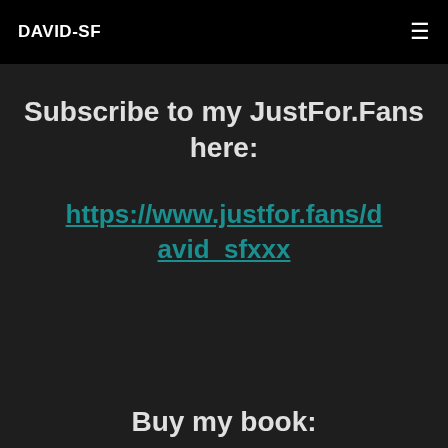DAVID-SF
Subscribe to my JustFor.Fans here:
https://www.justfor.fans/david_sfxxx
Buy my book: